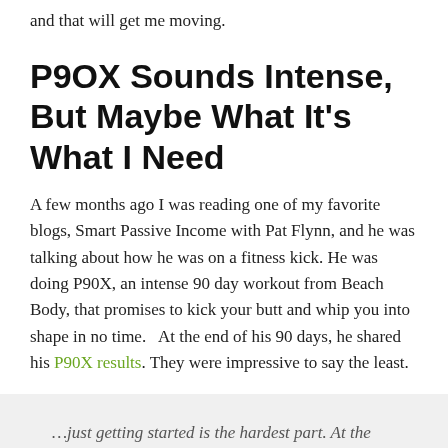and that will get me moving.
P9OX Sounds Intense, But Maybe What It's What I Need
A few months ago I was reading one of my favorite blogs, Smart Passive Income with Pat Flynn, and he was talking about how he was on a fitness kick. He was doing P90X, an intense 90 day workout from Beach Body, that promises to kick your butt and whip you into shape in no time.   At the end of his 90 days, he shared his P90X results. They were impressive to say the least.
…just getting started is the hardest part. At the beginning, it was tough. I could barely do half of the workouts on the DVDs and would constantly drop out in the middle of